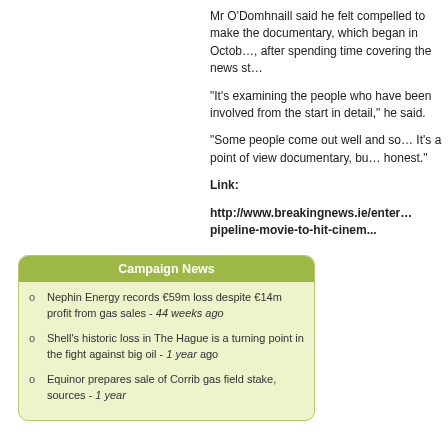Mr O'Domhnaill said he felt compelled to make the documentary, which began in October, after spending time covering the news story.
"It's examining the people who have been involved from the start in detail," he said.
"Some people come out well and some people don't. It's a point of view documentary, but it's going to be honest."
Link:
http://www.breakingnews.ie/enter... pipeline-movie-to-hit-cinem...
Campaign News
Nephin Energy records €59m loss despite €14m profit from gas sales - 44 weeks ago
Shell's historic loss in The Hague is a turning point in the fight against big oil - 1 year ago
Equinor prepares sale of Corrib gas field stake, sources - 1 year...